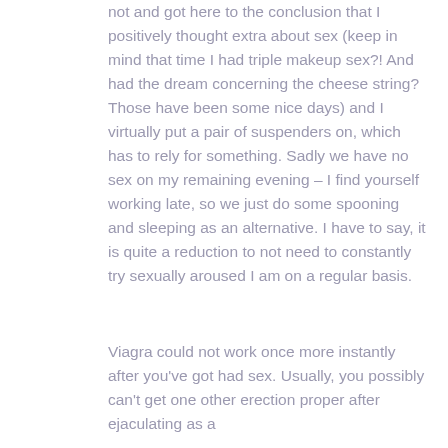not and got here to the conclusion that I positively thought extra about sex (keep in mind that time I had triple makeup sex?! And had the dream concerning the cheese string? Those have been some nice days) and I virtually put a pair of suspenders on, which has to rely for something. Sadly we have no sex on my remaining evening – I find yourself working late, so we just do some spooning and sleeping as an alternative. I have to say, it is quite a reduction to not need to constantly try sexually aroused I am on a regular basis.
Viagra could not work once more instantly after you've got had sex. Usually, you possibly can't get one other erection proper after ejaculating as a